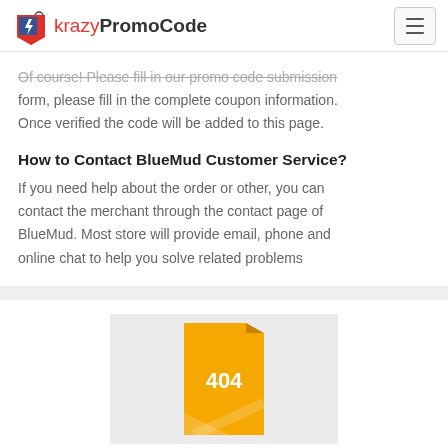krazyPromoCode
Of course! Please fill in our promo code submission form, please fill in the complete coupon information. Once verified the code will be added to this page.
How to Contact BlueMud Customer Service?
If you need help about the order or other, you can contact the merchant through the contact page of BlueMud. Most store will provide email, phone and online chat to help you solve related problems
[Figure (illustration): A yellow/orange document icon with '404' text and a folded corner, displayed on a light gray background box]